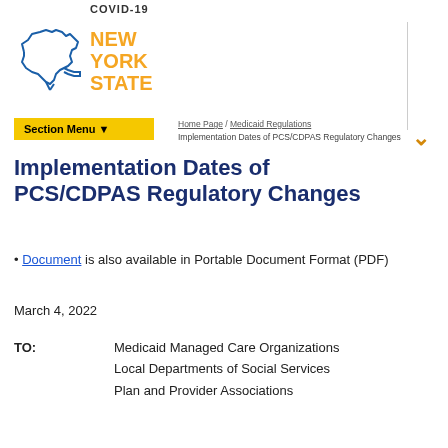COVID-19
[Figure (logo): New York State logo with outline of NY state in blue and 'NEW YORK STATE' text in orange/gold]
Section Menu
Implementation Dates of PCS/CDPAS Regulatory Changes
Implementation Dates of PCS/CDPAS Regulatory Changes
Document is also available in Portable Document Format (PDF)
March 4, 2022
TO: Medicaid Managed Care Organizations
Local Departments of Social Services
Plan and Provider Associations